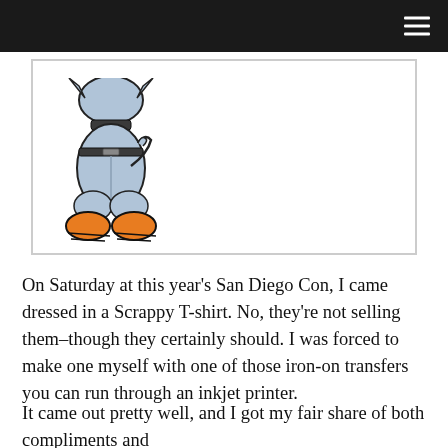[Figure (illustration): Cartoon character from the back, wearing grey pants and orange shoes, with a small tail visible — reminiscent of Scrappy-Doo.]
On Saturday at this year's San Diego Con, I came dressed in a Scrappy T-shirt. No, they're not selling them–though they certainly should. I was forced to make one myself with one of those iron-on transfers you can run through an inkjet printer.
It came out pretty well, and I got my fair share of both compliments and